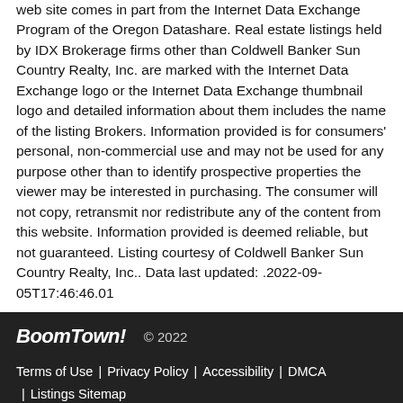web site comes in part from the Internet Data Exchange Program of the Oregon Datashare. Real estate listings held by IDX Brokerage firms other than Coldwell Banker Sun Country Realty, Inc. are marked with the Internet Data Exchange logo or the Internet Data Exchange thumbnail logo and detailed information about them includes the name of the listing Brokers. Information provided is for consumers' personal, non-commercial use and may not be used for any purpose other than to identify prospective properties the viewer may be interested in purchasing. The consumer will not copy, retransmit nor redistribute any of the content from this website. Information provided is deemed reliable, but not guaranteed. Listing courtesy of Coldwell Banker Sun Country Realty, Inc.. Data last updated: .2022-09-05T17:46:46.01
BoomTown! © 2022 | Terms of Use | Privacy Policy | Accessibility | DMCA | Listings Sitemap
Take a Tour   Ask A Question